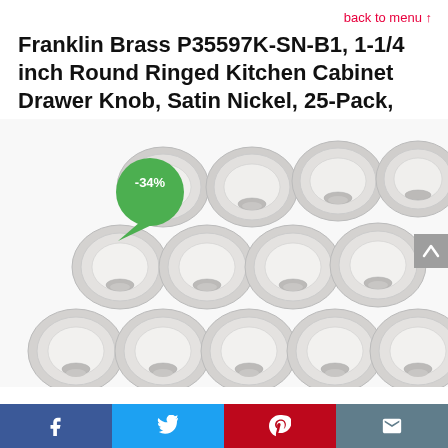back to menu ↑
Franklin Brass P35597K-SN-B1, 1-1/4 inch Round Ringed Kitchen Cabinet Drawer Knob, Satin Nickel, 25-Pack,
[Figure (photo): Product photo showing multiple satin nickel round ringed cabinet drawer knobs arranged in a grid of 3 rows and 5 columns, with a green circular badge showing -34% discount in the upper left area. A grey scroll-up button appears on the right side.]
Facebook | Twitter | Pinterest | Email social share bar